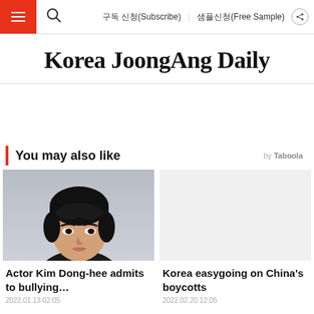Korea JoongAng Daily — navigation bar with hamburger menu, search, 구독 신청(Subscribe), 샘플신청(Free Sample), share
Korea JoongAng Daily
You may also like
[Figure (photo): Photo of actor Kim Dong-hee, a young Korean man with dark hair, looking at the camera against a light grey background]
Actor Kim Dong-hee admits to bullying…
2022.01.13 02:05
Korea easygoing on China's boycotts
2022.02.20 12:05